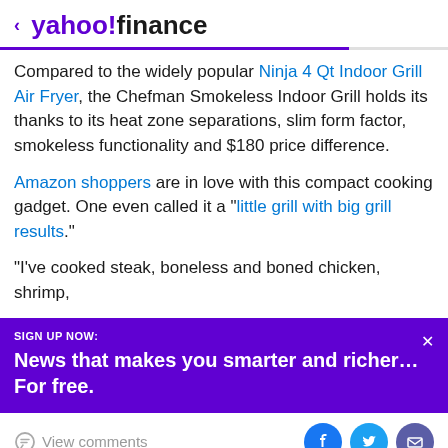< yahoo!finance
Compared to the widely popular Ninja 4 Qt Indoor Grill Air Fryer, the Chefman Smokeless Indoor Grill holds its thanks to its heat zone separations, slim form factor, smokeless functionality and $180 price difference.
Amazon shoppers are in love with this compact cooking gadget. One even called it a "little grill with big grill results."
"I've cooked steak, boneless and boned chicken, shrimp,
[Figure (screenshot): Purple promotional banner with text: SIGN UP NOW: News that makes you smarter and richer... For free. With an X close button.]
View comments